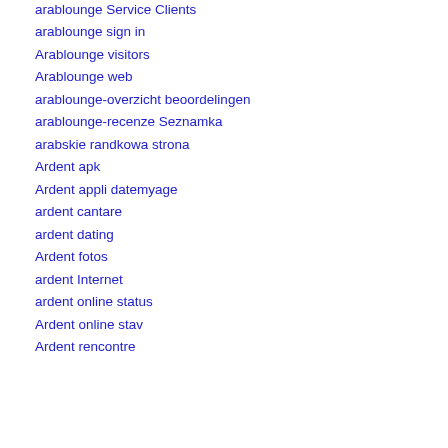arablounge Service Clients
arablounge sign in
Arablounge visitors
Arablounge web
arablounge-overzicht beoordelingen
arablounge-recenze Seznamka
arabskie randkowa strona
Ardent apk
Ardent appli datemyage
ardent cantare
ardent dating
Ardent fotos
ardent Internet
ardent online status
Ardent online stav
Ardent rencontre